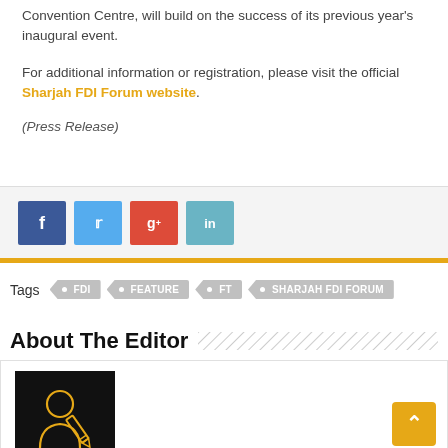Convention Centre, will build on the success of its previous year's inaugural event.
For additional information or registration, please visit the official Sharjah FDI Forum website.
(Press Release)
[Figure (other): Social share buttons: Facebook (blue), Twitter (light blue), Google+ (red), LinkedIn (teal)]
Tags  FDI  FEATURE  FT  SHARJAH FDI FORUM
About The Editor
[Figure (illustration): Black square with orange outline illustration of a person writing/editing with a pen, representing the editor avatar]